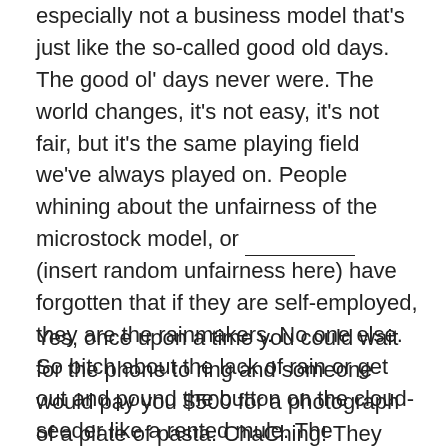especially not a business model that's just like the so-called good old days. The good ol' days never were. The world changes, it's not easy, it's not fair, but it's the same playing field we've always played on. People whining about the unfairness of the microstock model, or _______________ (insert random unfairness here) have forgotten that if they are self-employed, they are the rainmakers. No one else. So bitch about the lack of rain or get out and pound the button on the cloud-seeder like a rented mule. The question is not: is it fair? The question is: how badly do you want it?
Yes, once upon a time you could wait for the phone to ring and someone would pay you $500 for a photograph of a plate of pasta. ChaChing! They would